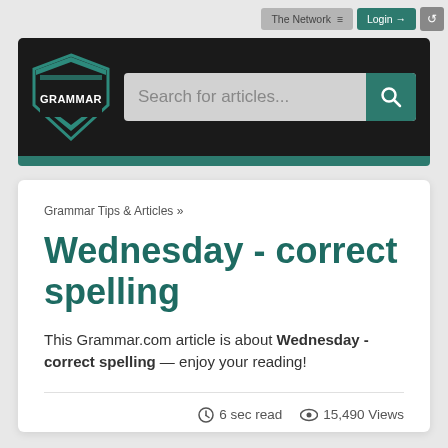The Network ≡   Login →   ↺
[Figure (logo): Grammar.com shield logo in teal and black with the word GRAMMAR]
Search for articles...
Grammar Tips & Articles »
Wednesday - correct spelling
This Grammar.com article is about Wednesday - correct spelling — enjoy your reading!
⏱ 6 sec read   👁 15,490 Views